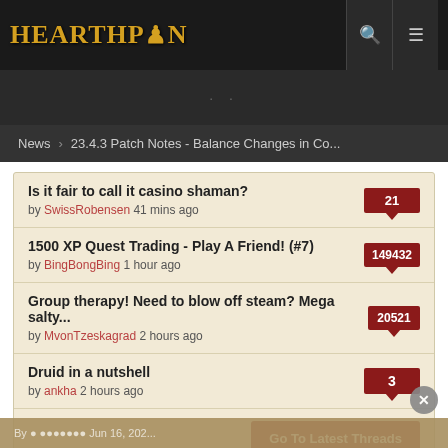HEARTHPWN
News > 23.4.3 Patch Notes - Balance Changes in Co...
Is it fair to call it casino shaman? by SwissRobensen 41 mins ago — 21 comments
1500 XP Quest Trading - Play A Friend! (#7) by BingBongBing 1 hour ago — 149432 comments
Group therapy! Need to blow off steam? Mega salty... by MvonTzeskagrad 2 hours ago — 20521 comments
Druid in a nutshell by ankha 2 hours ago — 3 comments
Go To Latest Threads